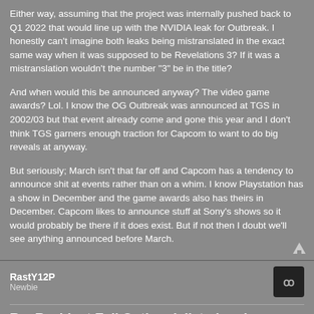Either way, assuming that the project was internally pushed back to Q1 2022 that would line up with the NVIDIA leak for Outbreak. I honestly can't imagine both leaks being mistranslated in the exact same way when it was supposed to be Revelations 3? If it was a mistranslation wouldn't the number "3" be in the title?
And when would this be announced anyway? The video game awards? Lol. I know the OG Outbreak was announced at TGS in 2002/03 but that event already come and gone this year and I don't think TGS garners enough traction for Capcom to want to do big reveals at anyway.
But seriously; March isn't that far off and Capcom has a tendency to announce shit at events rather than on a whim. I know Playstation has a show in December and the game awards also has theirs in December. Capcom likes to announce stuff at Sony's shows so it would probably be there if it does exist. But if not then I doubt we'll see anything announced before March.
RastY12P
Newbie
Re: Resident Evil Outbreak listed under Geforce Now Leak
Fri Nov 26, 2021 4:09 pm
Also on the website of resident evil appears a redesign of the cover of